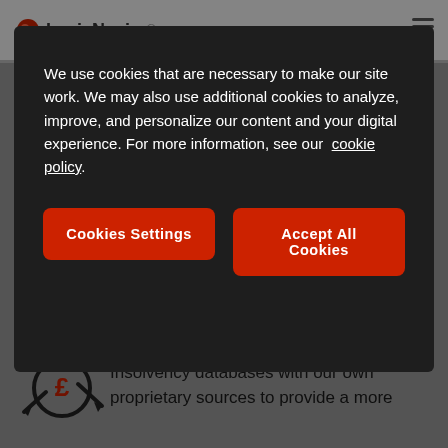LexisNexis
We use cookies that are necessary to make our site work. We may also use additional cookies to analyze, improve, and personalize our content and your digital experience. For more information, see our cookie policy.
Cookies Settings
Accept All Cookies
Combines public records information from the Edited Electoral Roll, CCJ and Insolvency databases with our own proprietary sources to provide a more